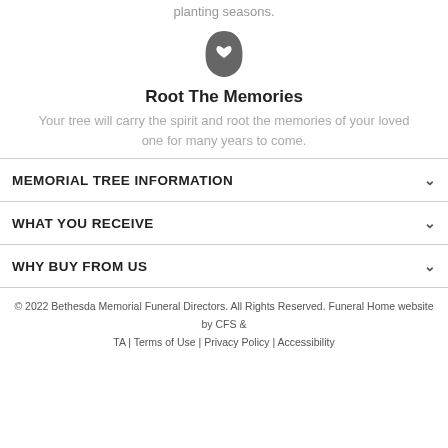planting seasons.
[Figure (illustration): A dark gray leaf icon with a heart shape cut out in the center]
Root The Memories
Your tree will carry the spirit and root the memories of your loved one for many years to come.
MEMORIAL TREE INFORMATION
WHAT YOU RECEIVE
WHY BUY FROM US
© 2022 Bethesda Memorial Funeral Directors. All Rights Reserved. Funeral Home website by CFS & TA | Terms of Use | Privacy Policy | Accessibility